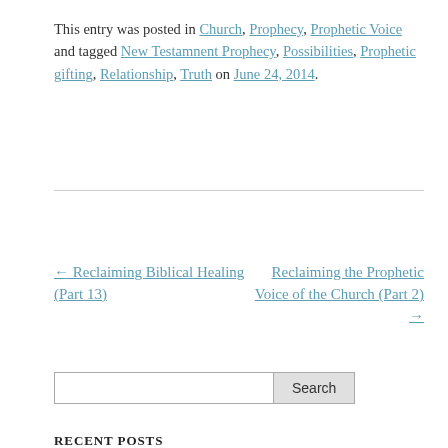This entry was posted in Church, Prophecy, Prophetic Voice and tagged New Testamnent Prophecy, Possibilities, Prophetic gifting, Relationship, Truth on June 24, 2014.
← Reclaiming Biblical Healing (Part 13)
Reclaiming the Prophetic Voice of the Church (Part 2) →
Search
RECENT POSTS
To Explain or Experience? That is the Question
Come Run With Us! (PART 2)